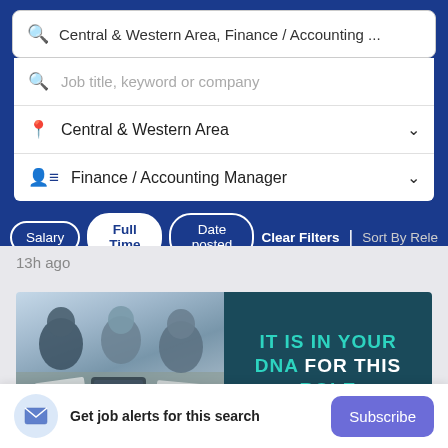[Figure (screenshot): Job search interface screenshot showing a search bar with 'Central & Western Area, Finance / Accounting ...' text, with dropdown rows for location 'Central & Western Area' and category 'Finance / Accounting Manager', plus filter buttons for Salary, Full Time, Date posted, Clear Filters, Sort By Relevance]
13h ago
[Figure (photo): Job listing card showing people working around a table with a tablet, alongside a dark teal panel reading 'IT IS IN YOUR DNA FOR THIS ROLE']
Get job alerts for this search
Subscribe